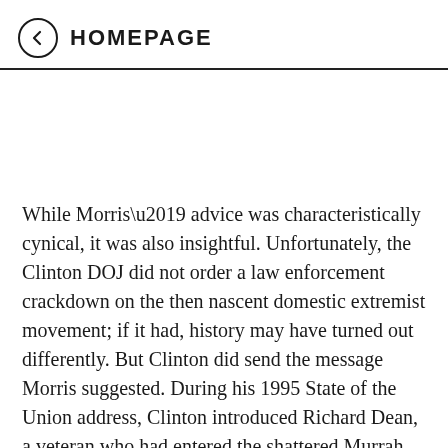HOMEPAGE
While Morris’ advice was characteristically cynical, it was also insightful. Unfortunately, the Clinton DOJ did not order a law enforcement crackdown on the then nascent domestic extremist movement; if it had, history may have turned out differently. But Clinton did send the message Morris suggested. During his 1995 State of the Union address, Clinton introduced Richard Dean, a veteran who had entered the shattered Murrah building four times to